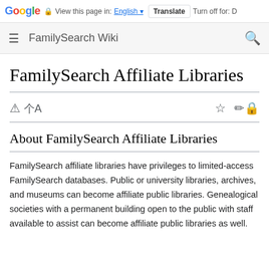Google | View this page in: English | Translate | Turn off for: D
FamilySearch Wiki
FamilySearch Affiliate Libraries
About FamilySearch Affiliate Libraries
FamilySearch affiliate libraries have privileges to limited-access FamilySearch databases. Public or university libraries, archives, and museums can become affiliate public libraries. Genealogical societies with a permanent building open to the public with staff available to assist can become affiliate public libraries as well.